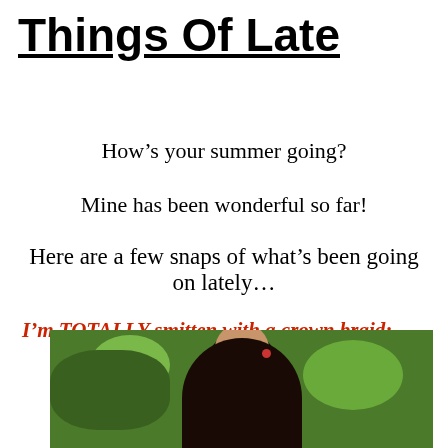Things Of Late
How’s your summer going?
Mine has been wonderful so far!
Here are a few snaps of what’s been going on lately…
I’m TOTALLY smitten with a crown braid:
[Figure (photo): A person with dark hair styled in a crown braid with a small red flower, photographed outdoors with green foliage in the background.]